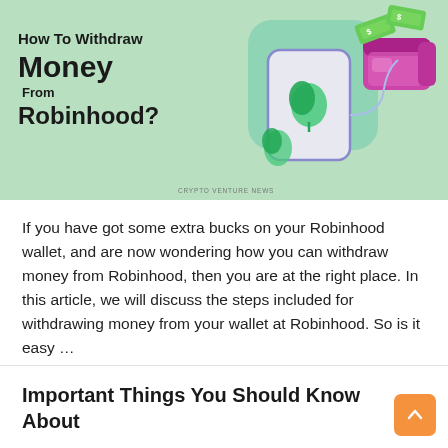[Figure (illustration): Promotional illustration with mint/sage green background showing text 'How To Withdraw Money From Robinhood?' on the left, and a 3D isometric graphic of a smartphone with Robinhood leaf logo transferring money to a pink/magenta wallet, with flying dollar bills. Watermark 'CRYPTO VENTURE NEWS' at bottom left.]
If you have got some extra bucks on your Robinhood wallet, and are now wondering how you can withdraw money from Robinhood, then you are at the right place. In this article, we will discuss the steps included for withdrawing money from your wallet at Robinhood. So is it easy …
Important Things You Should Know About